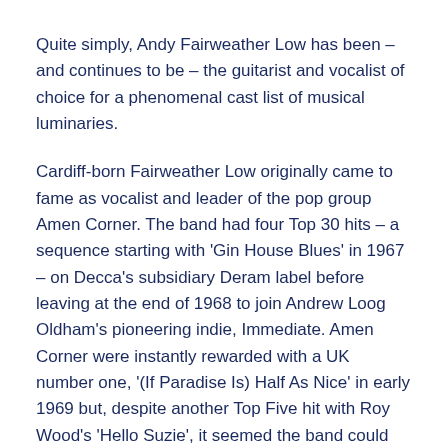Quite simply, Andy Fairweather Low has been – and continues to be – the guitarist and vocalist of choice for a phenomenal cast list of musical luminaries.
Cardiff-born Fairweather Low originally came to fame as vocalist and leader of the pop group Amen Corner. The band had four Top 30 hits – a sequence starting with 'Gin House Blues' in 1967 – on Decca's subsidiary Deram label before leaving at the end of 1968 to join Andrew Loog Oldham's pioneering indie, Immediate. Amen Corner were instantly rewarded with a UK number one, '(If Paradise Is) Half As Nice' in early 1969 but, despite another Top Five hit with Roy Wood's 'Hello Suzie', it seemed the band could not survive success.
By the following year Amen Corner had split, with Andy Fairweather Low escaping the teenybop grind by forming the simply named Fairweather, a band signed to RCA's